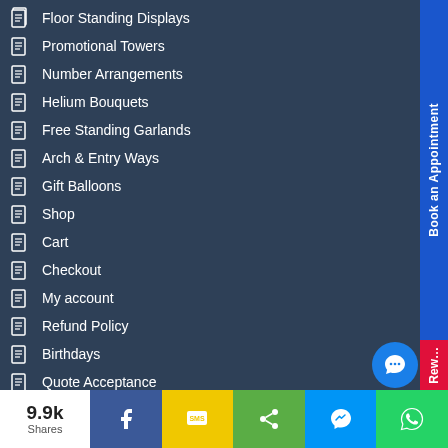Floor Standing Displays
Promotional Towers
Number Arrangements
Helium Bouquets
Free Standing Garlands
Arch & Entry Ways
Gift Balloons
Shop
Cart
Checkout
My account
Refund Policy
Birthdays
Quote Acceptance
Prop Hire
Table Arrangements
Themed Party Boxes
Themed Party Boxes – DRAFT
9.9k Shares
[Figure (screenshot): Bottom social share bar with Facebook, SMS, Share, Messenger, and WhatsApp buttons]